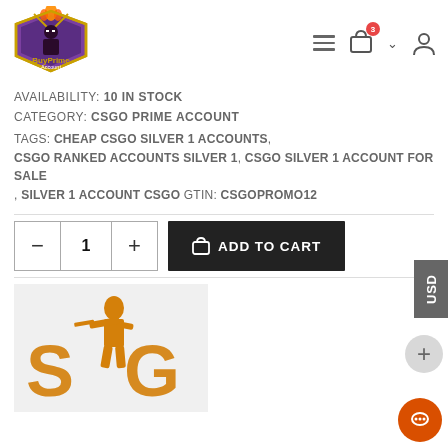[Figure (logo): BuyPrime Account logo with purple ninja character on golden shield with flames]
[Figure (screenshot): Navigation bar with hamburger menu, shopping cart with badge, chevron, and user/account icon]
AVAILABILITY: 10 IN STOCK
CATEGORY: CSGO PRIME ACCOUNT
TAGS: CHEAP CSGO SILVER 1 ACCOUNTS, CSGO RANKED ACCOUNTS SILVER 1, CSGO SILVER 1 ACCOUNT FOR SALE, SILVER 1 ACCOUNT CSGO GTIN: CSGOPROMO12
[Figure (other): Add to cart section with quantity selector (minus, 1, plus) and dark ADD TO CART button with bag icon]
[Figure (other): USD currency panel on the right side]
[Figure (illustration): CS:GO logo with golden soldier figure and S G letters on light grey background]